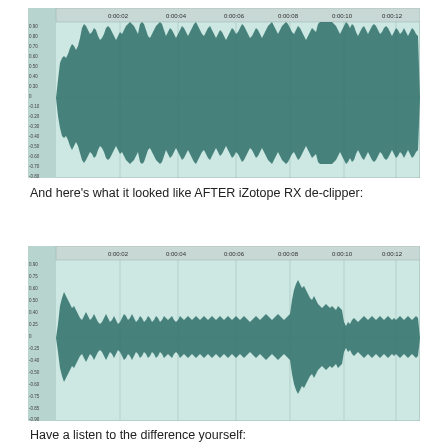[Figure (continuous-plot): Audio waveform screenshot before iZotope RX de-clipper processing. Shows clipped audio with flat-topped peaks and dense waveform filling much of the amplitude range. Timeline runs from approximately 0:00:02 to 0:00:12. Waveform is displayed in dark teal on a light mint/green background with vertical gridlines and dB scale on the left axis.]
And here’s what it looked like AFTER iZotope RX de-clipper:
[Figure (continuous-plot): Audio waveform screenshot after iZotope RX de-clipper processing. Shows restored audio with more natural peak shapes and reduced clipping artifacts. Timeline runs from approximately 0:00:02 to 0:00:12. Waveform is displayed in dark teal on a light mint/green background with vertical gridlines and dB scale on the left axis.]
Have a listen to the difference yourself: